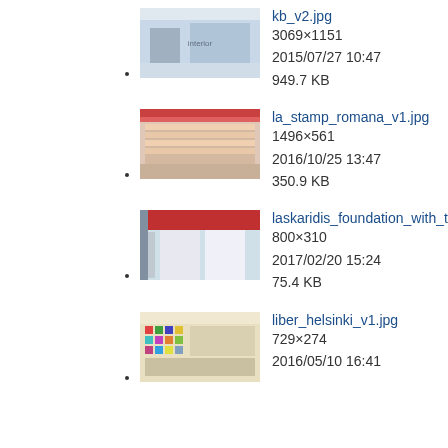kb_v2.jpg
3069×1151
2015/07/27 10:47
949.7 KB
la_stamp_romana_v1.jpg
1496×561
2016/10/25 13:47
350.9 KB
laskaridis_foundation_with_title.jpg
800×310
2017/02/20 15:24
75.4 KB
liber_helsinki_v1.jpg
729×274
2016/05/10 16:41